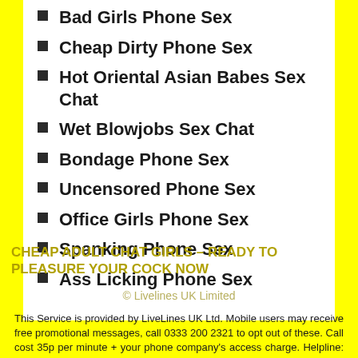Bad Girls Phone Sex
Cheap Dirty Phone Sex
Hot Oriental Asian Babes Sex Chat
Wet Blowjobs Sex Chat
Bondage Phone Sex
Uncensored Phone Sex
Office Girls Phone Sex
Spanking Phone Sex
Ass Licking Phone Sex
CHEAP ADULT CHAT GIRLS – READY TO PLEASURE YOUR COCK NOW
© Livelines UK Limited
This Service is provided by LiveLines UK Ltd. Mobile users may receive free promotional messages, call 0333 200 2321 to opt out of these. Call cost 35p per minute + your phone company's access charge. Helpline: 0333 200 2321. All users